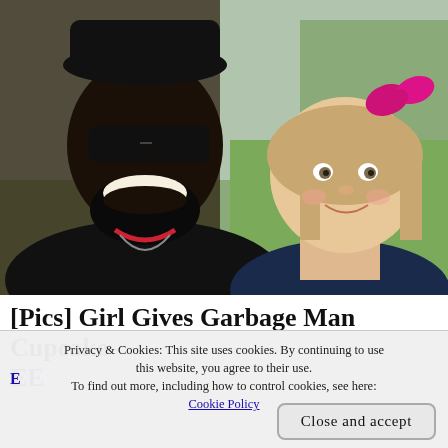[Figure (photo): A smiling Black man wearing sunglasses and a black jacket, posing cheek-to-cheek with a young blonde girl wearing a pink bow in her hair and a navy jacket. Outdoor background with green grass.]
[Pics] Girl Gives Garbage Man Cupcake Every Week Until Dad Follows His truck...
Privacy & Cookies: This site uses cookies. By continuing to use this website, you agree to their use. To find out more, including how to control cookies, see here: Cookie Policy
Close and accept